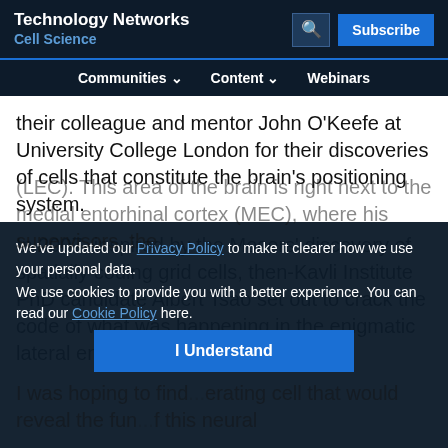Technology Networks
Cell Science
Communities  Content  Webinars
their colleague and mentor John O'Keefe at University College London for their discoveries of cells that constitute the brain's positioning system.
In 2007, inspired by the Mosers' discovery of spatially coding grid cells, then-Kavli Institute PhD candidate Albert Tsao set out to crack the code of what was happening in the enigmatic lateral entorhinal cortex (LEC). This area of the brain is right next to the medial entorhinal cortex (MEC), where his supervisors, the Mosers, worked.
We've updated our Privacy Policy to make it clearer how we use your personal data.
We use cookies to provide you with a better experience. You can read our Cookie Policy here.
I Understand
I was hoping to find... erating cell that would reveal the fun... f this neural...